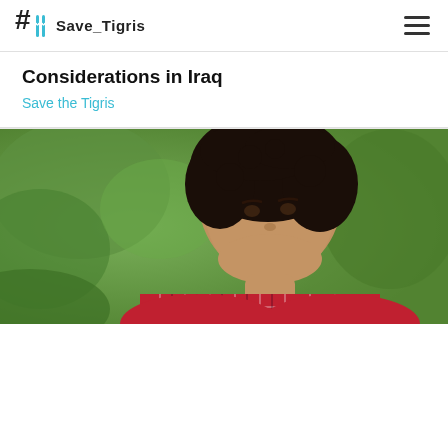#Save_Tigris
Considerations in Iraq
Save the Tigris
[Figure (photo): Close-up photograph of a woman with dark curly hair wearing a red and white plaid shirt, speaking outdoors with green blurred foliage in the background.]